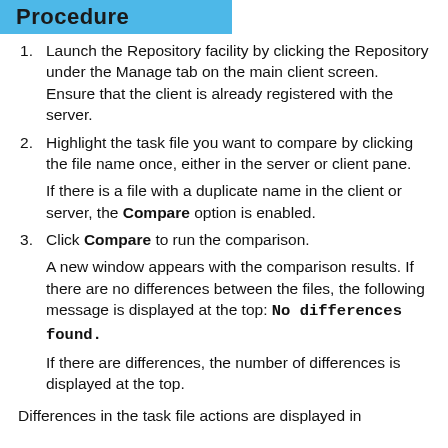Procedure
Launch the Repository facility by clicking the Repository under the Manage tab on the main client screen. Ensure that the client is already registered with the server.
Highlight the task file you want to compare by clicking the file name once, either in the server or client pane.
If there is a file with a duplicate name in the client or server, the Compare option is enabled.
Click Compare to run the comparison.
A new window appears with the comparison results. If there are no differences between the files, the following message is displayed at the top: No differences found.
If there are differences, the number of differences is displayed at the top.
Differences in the task file actions are displayed in